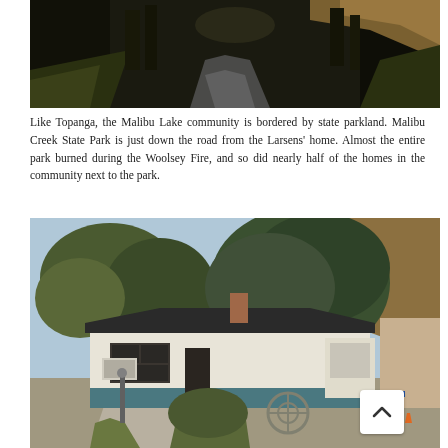[Figure (photo): A winding road through dark, dense trees with brown hillside vegetation — taken in a chaparral woodland, likely Malibu Creek State Park area.]
Like Topanga, the Malibu Lake community is bordered by state parkland. Malibu Creek State Park is just down the road from the Larsens' home. Almost the entire park burned during the Woolsey Fire, and so did nearly half of the homes in the community next to the park.
[Figure (photo): A single-story ranch-style home with white stucco walls, dark teal/blue lower trim, a chimney, AC unit, and large oak trees in the yard. A driveway with a blue bin is visible at right.]